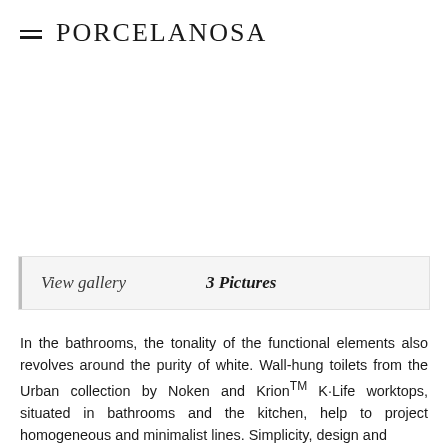PORCELANOSA
[Figure (photo): Image placeholder area (white/blank) for bathroom/kitchen photo gallery]
View gallery   3 Pictures
In the bathrooms, the tonality of the functional elements also revolves around the purity of white. Wall-hung toilets from the Urban collection by Noken and Krion™ K·Life worktops, situated in bathrooms and the kitchen, help to project homogeneous and minimalist lines. Simplicity, design and